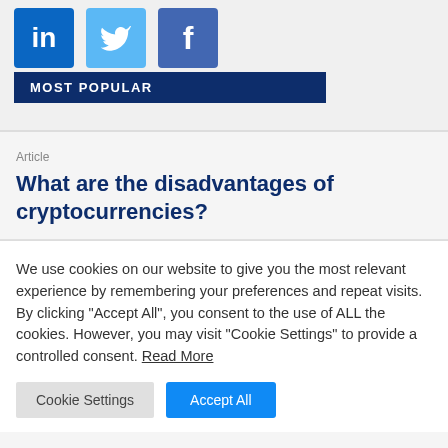[Figure (logo): LinkedIn, Twitter, and Facebook social media icons displayed as colored square buttons, with a 'MOST POPULAR' dark blue banner below them]
Article
What are the disadvantages of cryptocurrencies?
We use cookies on our website to give you the most relevant experience by remembering your preferences and repeat visits. By clicking "Accept All", you consent to the use of ALL the cookies. However, you may visit "Cookie Settings" to provide a controlled consent. Read More
Cookie Settings | Accept All